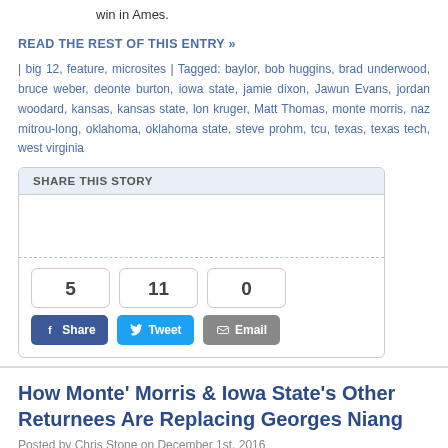win in Ames.
READ THE REST OF THIS ENTRY »
| big 12, feature, microsites | Tagged: baylor, bob huggins, brad underwood, bruce weber, deonte burton, iowa state, jamie dixon, Jawun Evans, jordan woodard, kansas, kansas state, lon kruger, Matt Thomas, monte morris, naz mitrou-long, oklahoma, oklahoma state, steve prohm, tcu, texas, texas tech, west virginia
[Figure (infographic): Share This Story box with social share counts (5 Facebook, 11 Tweet, 0 Email) and share buttons]
How Monte' Morris & Iowa State's Other Returnees Are Replacing Georges Niang
Posted by Chris Stone on December 1st, 2016